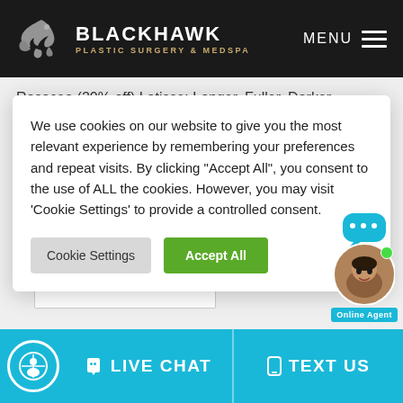[Figure (logo): Blackhawk Plastic Surgery & MedSpa logo with eagle/hawk bird graphic on dark background header with MENU text and hamburger icon]
Rosacea (20% off) Latisse: Longer, Fuller, Darker
We use cookies on our website to give you the most relevant experience by remembering your preferences and repeat visits. By clicking “Accept All”, you consent to the use of ALL the cookies. However, you may visit ‘Cookie Settings’ to provide a controlled consent.
Cookie Settings | Accept All
rejuvenated you, then consider Blackhawk
Surgery. We are the premier surgery center f
LIVE CHAT
TEXT US